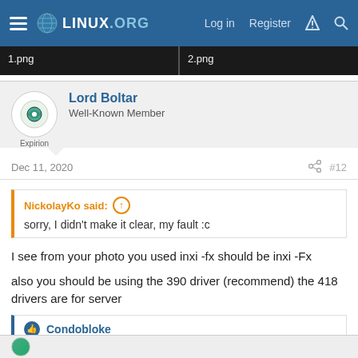Linux.org — Log in  Register
[Figure (screenshot): Two image thumbnails labeled 1.png and 2.png on dark background]
Lord Boltar
Well-Known Member
Expirion
Dec 11, 2020  #12
NickolayKo said: sorry, I didn't make it clear, my fault :c
I see from your photo you used inxi -fx should be inxi -Fx
also you should be using the 390 driver (recommend) the 418 drivers are for server
Condobloke